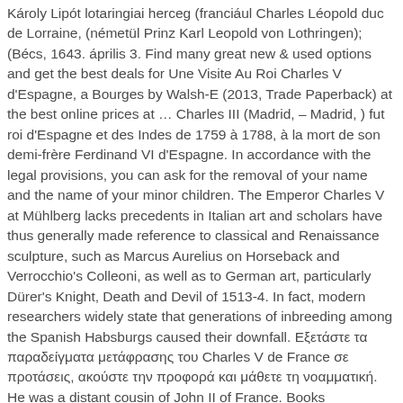Károly Lipót lotaringiai herceg (franciául Charles Léopold duc de Lorraine, (németül Prinz Karl Leopold von Lothringen); (Bécs, 1643. április 3. Find many great new & used options and get the best deals for Une Visite Au Roi Charles V d'Espagne, a Bourges by Walsh-E (2013, Trade Paperback) at the best online prices at … Charles III (Madrid, – Madrid, ) fut roi d'Espagne et des Indes de 1759 à 1788, à la mort de son demi-frère Ferdinand VI d'Espagne. In accordance with the legal provisions, you can ask for the removal of your name and the name of your minor children. The Emperor Charles V at Mühlberg lacks precedents in Italian art and scholars have thus generally made reference to classical and Renaissance sculpture, such as Marcus Aurelius on Horseback and Verrocchio's Colleoni, as well as to German art, particularly Dürer's Knight, Death and Devil of 1513-4. In fact, modern researchers widely state that generations of inbreeding among the Spanish Habsburgs caused their downfall. Εξετάστε τα παραδείγματα μετάφρασης του Charles V de France σε προτάσεις, ακούστε την προφορά και μάθετε τη νοαμματική. He was a distant cousin of John II of France. Books